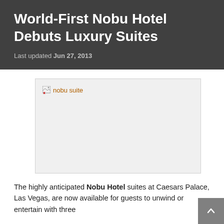World-First Nobu Hotel Debuts Luxury Suites
Last updated Jun 27, 2013
[Figure (photo): Broken image placeholder for 'nobu suite' — a large light grey rectangle with a broken image icon and alt text 'nobu suite' in the top left corner]
The highly anticipated Nobu Hotel suites at Caesars Palace, Las Vegas, are now available for guests to unwind or entertain with three